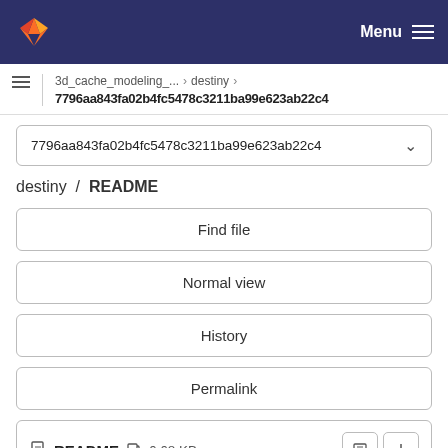Menu
3d_cache_modeling_... › destiny › 7796aa843fa02b4fc5478c3211ba99e623ab22c4
7796aa843fa02b4fc5478c3211ba99e623ab22c4
destiny / README
Find file
Normal view
History
Permalink
README  6.68 KB
Newer  Older